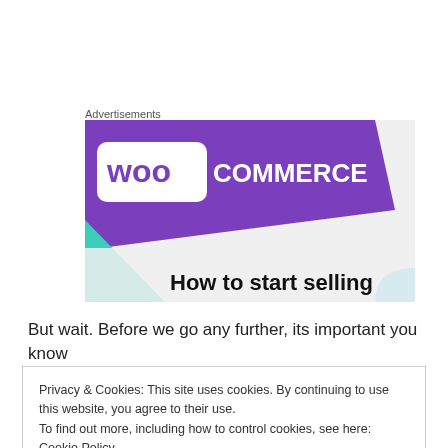Advertisements
[Figure (illustration): WooCommerce advertisement banner with purple background showing the WooCommerce logo and text 'How to start selling', with teal and light blue geometric shapes]
But wait. Before we go any further, its important you know
Privacy & Cookies: This site uses cookies. By continuing to use this website, you agree to their use.
To find out more, including how to control cookies, see here: Cookie Policy
Close and accept
we had gotten stuck driving home.